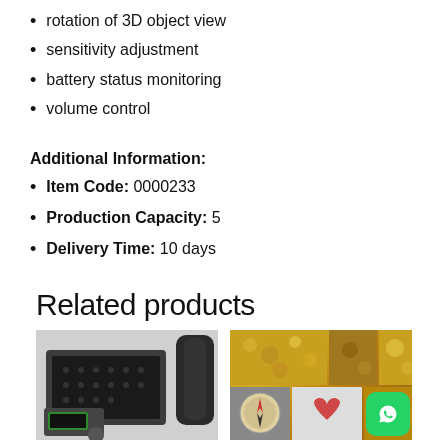rotation of 3D object view
sensitivity adjustment
battery status monitoring
volume control
Additional Information:
Item Code: 0000233
Production Capacity: 5
Delivery Time: 10 days
Related products
[Figure (photo): Equipment product photo showing detector case and accessories]
[Figure (photo): Collage of gold/mineral related product images with WhatsApp icon]